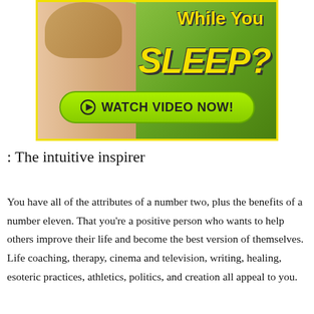[Figure (illustration): Advertisement banner showing a woman touching her face, with yellow text 'While You SLEEP?' and a green button labeled 'WATCH VIDEO NOW!']
: The intuitive inspirer
You have all of the attributes of a number two, plus the benefits of a number eleven. That you're a positive person who wants to help others improve their life and become the best version of themselves. Life coaching, therapy, cinema and television, writing, healing, esoteric practices, athletics, politics, and creation all appeal to you.